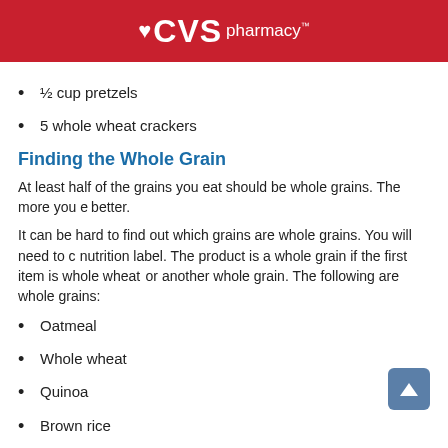CVS pharmacy™
½ cup pretzels
5 whole wheat crackers
Finding the Whole Grain
At least half of the grains you eat should be whole grains. The more you eat, the better.
It can be hard to find out which grains are whole grains. You will need to check the nutrition label. The product is a whole grain if the first item is whole wheat, whole oat, or another whole grain. The following are whole grains:
Oatmeal
Whole wheat
Quinoa
Brown rice
Popcorn
Bulgur
Whole grain farro
Hulled barley
These are some foods are made with whole grains: